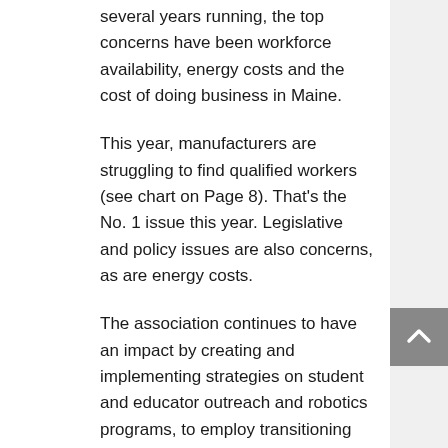several years running, the top concerns have been workforce availability, energy costs and the cost of doing business in Maine.
This year, manufacturers are struggling to find qualified workers (see chart on Page 8). That's the No. 1 issue this year. Legislative and policy issues are also concerns, as are energy costs.
The association continues to have an impact by creating and implementing strategies on student and educator outreach and robotics programs, to employ transitioning military members, new Mainers/immigrants, corrections populations and others seeking meaningful employment.
As we work to promote careers in manufacturing, we must collaborate with industry, government, service organizations and workers to assure the retention and